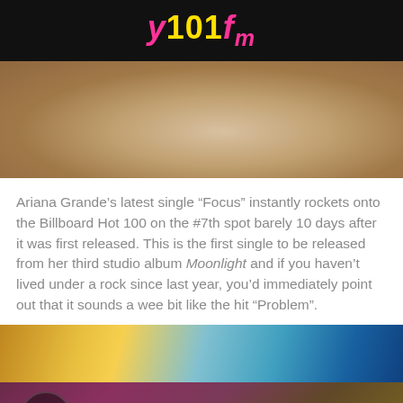Y101fm
[Figure (photo): Cropped photo of a woman with flowing hair, top portion visible]
Ariana Grande's latest single “Focus” instantly rockets onto the Billboard Hot 100 on the #7th spot barely 10 days after it was first released. This is the first single to be released from her third studio album Moonlight and if you haven’t lived under a rock since last year, you’d immediately point out that it sounds a wee bit like the hit “Problem”.
[Figure (photo): Bottom portion of a colorful concert or album art photo with golden and teal tones]
Y101fm Always First